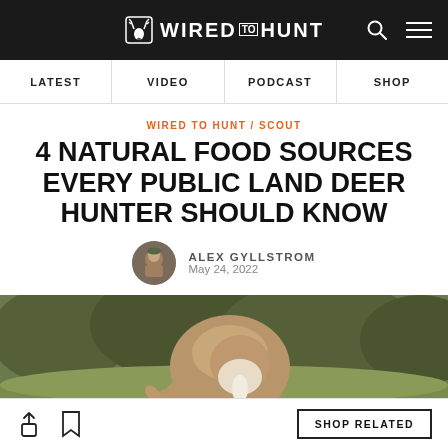WIRED TO HUNT
LATEST | VIDEO | PODCAST | SHOP
WIRED TO HUNT / SCOUT
4 NATURAL FOOD SOURCES EVERY PUBLIC LAND DEER HUNTER SHOULD KNOW
ALEX GYLLSTROM
May 24, 2022
[Figure (photo): A deer photographed from behind, grazing in a green field. The deer's hindquarters and white tail are visible as it bends to eat.]
SHOP RELATED